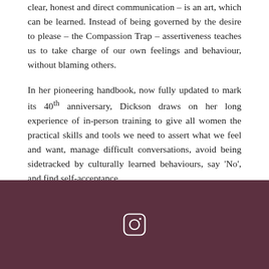clear, honest and direct communication – is an art, which can be learned. Instead of being governed by the desire to please – the Compassion Trap – assertiveness teaches us to take charge of our own feelings and behaviour, without blaming others.
In her pioneering handbook, now fully updated to mark its 40th anniversary, Dickson draws on her long experience of in-person training to give all women the practical skills and tools we need to assert what we feel and want, manage difficult conversations, avoid being sidetracked by culturally learned behaviours, say 'No', and find self-acceptance.
[Figure (logo): Instagram icon (rounded square with circle and dot) on dark burgundy/plum background]